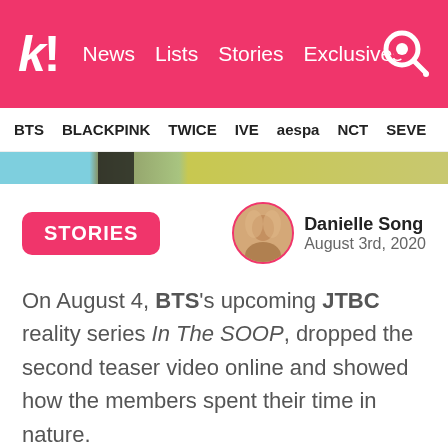k! News Lists Stories Exclusives
BTS BLACKPINK TWICE IVE aespa NCT SEVE
[Figure (photo): Partial banner image strip with light blue, olive green, and yellow-green sections]
STORIES
[Figure (photo): Author avatar: Danielle Song, circular portrait photo]
Danielle Song
August 3rd, 2020
On August 4, BTS's upcoming JTBC reality series In The SOOP, dropped the second teaser video online and showed how the members spent their time in nature.
In the SOOP BTS ver. Official Teaser 2 (https://t.co/LZoEHnD8Iv)